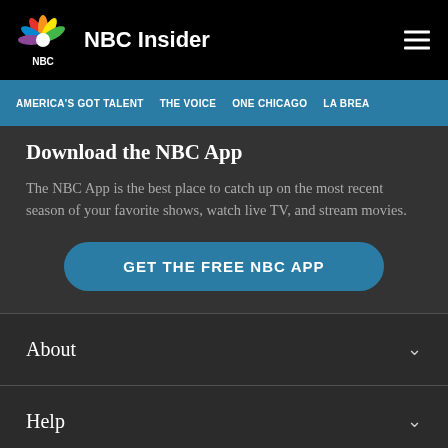NBC Insider
AMERICA'S GOT TALENT  THE VOICE  ONE CHICAGO  LA BREA
Download the NBC App
The NBC App is the best place to catch up on the most recent season of your favorite shows, watch live TV, and stream movies.
GET THE FREE NBC APP
About
Help